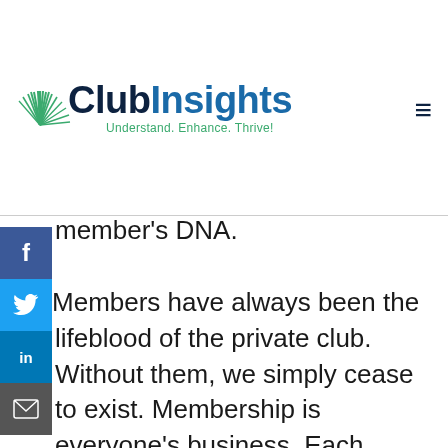[Figure (logo): ClubInsights logo with sunburst icon and tagline 'Understand. Enhance. Thrive!']
member's DNA.

Members have always been the lifeblood of the private club. Without them, we simply cease to exist. Membership is everyone's business. Each department should be tasked specifically around growth and retention. Strategies should be built around sustainable membership interactions, amenities and driving